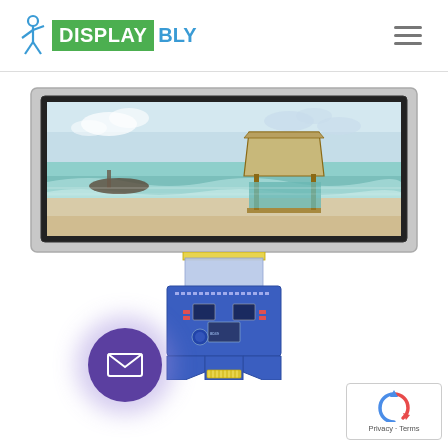[Figure (logo): DisplayBly logo with green background DISPLAY and blue BLY text, with a blue stick figure icon]
[Figure (photo): Wide-format LCD display module showing a beach scene with a thatched hut, with FPC connector board attached at bottom]
[Figure (other): Purple circular email/contact button with envelope icon, positioned bottom left]
[Figure (other): Google reCAPTCHA badge with Privacy and Terms links, bottom right corner]